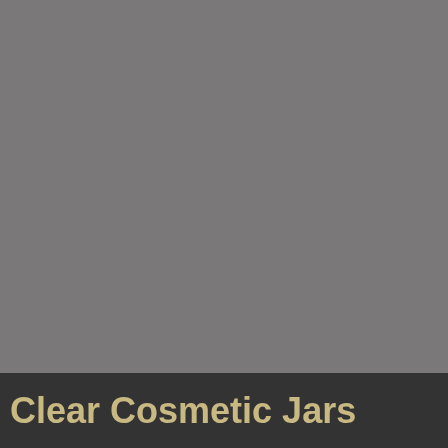[Figure (photo): Gray background image, likely a placeholder or product photo background for clear cosmetic jars]
Clear Cosmetic Jars